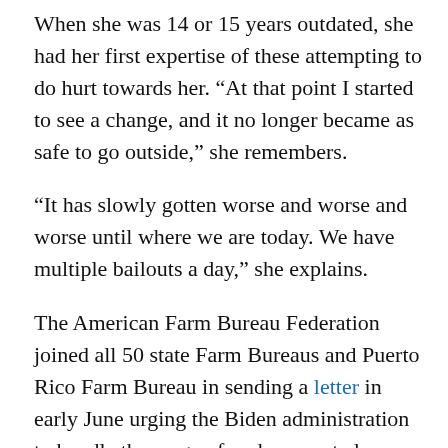When she was 14 or 15 years outdated, she had her first expertise of these attempting to do hurt towards her. “At that point I started to see a change, and it no longer became as safe to go outside,” she remembers.
“It has slowly gotten worse and worse and worse until where we are today. We have multiple bailouts a day,” she explains.
The American Farm Bureau Federation joined all 50 state Farm Bureaus and Puerto Rico Farm Bureau in sending a letter in early June urging the Biden administration to handle the surge of undocumented immigrants getting into america. The letter factors out that native and state border safety assets have been exhausted, leaving little assist for farmers and ranchers. It highlights the issue of human smugglers, generally known as Coyotes, explaining that